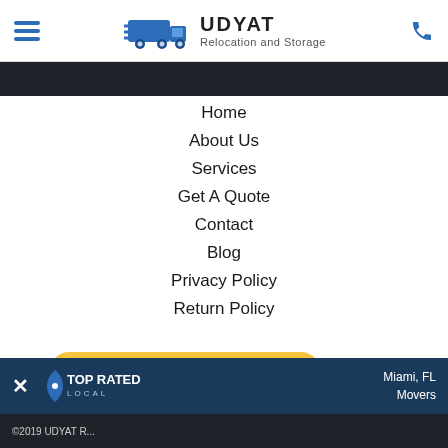UDYAT Relocation and Storage
Home
About Us
Services
Get A Quote
Contact
Blog
Privacy Policy
Return Policy
[Figure (logo): Buy Now PayPal button with payment card icons: VISA, Mastercard, Maestro, American Express, Discover, UnionPay]
[Figure (logo): Top Rated Local banner with close button, Top Rated Local logo, Miami FL Movers text]
©2019 UDYAT R...